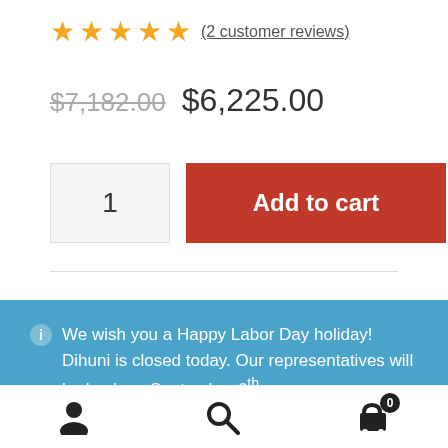★★★★★ (2 customer reviews)
$7,182.00  $6,225.00
1  Add to cart
We wish you a Happy Labor Day holiday! Dihuni is closed today. Our representatives will be back on September 6th so our responses will be delayed until then. Thank you. Dismiss